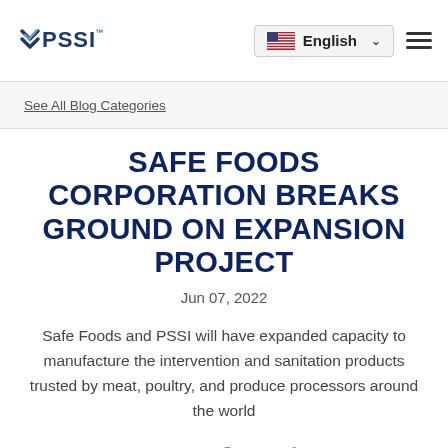PSSI | English
See All Blog Categories
SAFE FOODS CORPORATION BREAKS GROUND ON EXPANSION PROJECT
Jun 07, 2022
Safe Foods and PSSI will have expanded capacity to manufacture the intervention and sanitation products trusted by meat, poultry, and produce processors around the world
SHARE: